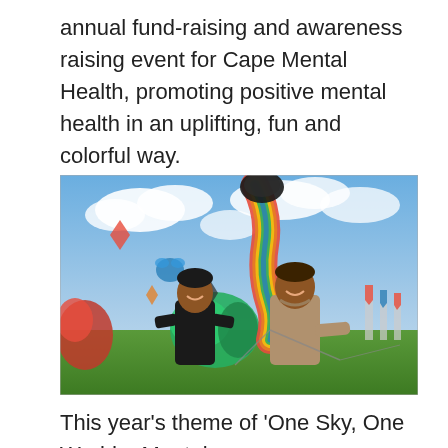annual fund-raising and awareness raising event for Cape Mental Health, promoting positive mental health in an uplifting, fun and colorful way.
[Figure (photo): Two smiling children holding kite strings at a colorful kite festival outdoors, with large inflatable and decorative kites visible in the background against a blue sky with clouds.]
This year's theme of 'One Sky, One World – Mental